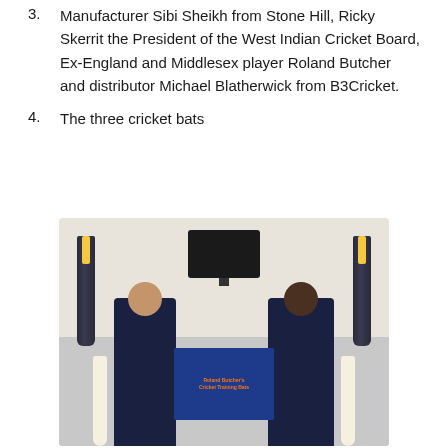3. Manufacturer Sibi Sheikh from Stone Hill, Ricky Skerrit the President of the West Indian Cricket Board, Ex-England and Middlesex player Roland Butcher and distributor Michael Blatherwick from B3Cricket.
4. The three cricket bats
[Figure (photo): Two men standing indoors holding cricket bats. Two cricket bats are mounted on the wall behind them. A flat-screen TV is on the wall between the bats. A blue banner with orange text referencing Roland Butcher's cricket training bats is visible between the two men. Both men are wearing dark navy polo shirts.]